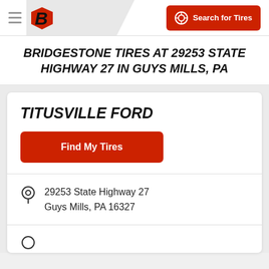Bridgestone logo and Search for Tires navigation
BRIDGESTONE TIRES AT 29253 STATE HIGHWAY 27 IN GUYS MILLS, PA
TITUSVILLE FORD
Find My Tires
29253 State Highway 27
Guys Mills, PA 16327